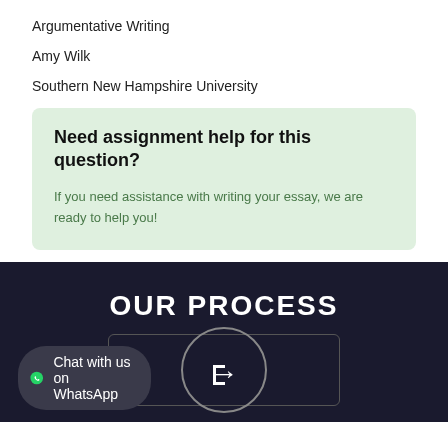Argumentative Writing
Amy Wilk
Southern New Hampshire University
Need assignment help for this question?
If you need assistance with writing your essay, we are ready to help you!
OUR PROCESS
[Figure (screenshot): Dark background section showing 'OUR PROCESS' heading with a bordered rectangle and a circular login icon, plus a WhatsApp chat button overlay at the bottom left]